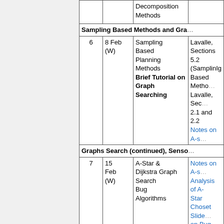| Week | Date | Topic | Reading |
| --- | --- | --- | --- |
|  |  | Decomposition Methods |  |
|  | Sampling Based Methods and Gra... |  |  |
| 6 | 8 Feb (W) | Sampling Based Planning Methods
Brief Tutorial on Graph Searching | Lavalle, Sections 5.2 (SamplinIg Based Metho...
Lavalle, Sec 2.1 and 2.2
Notes on A-s... |
|  | Graphs Search (continued), Senso... |  |  |
| 7 | 15 Feb (W) | A-Star & Dijkstra Graph Search
Bug Algorithms | Notes on A-s...
Analysis of A-Star
Choset Slide... on Bug Algorithms
Lavalle 667-... |